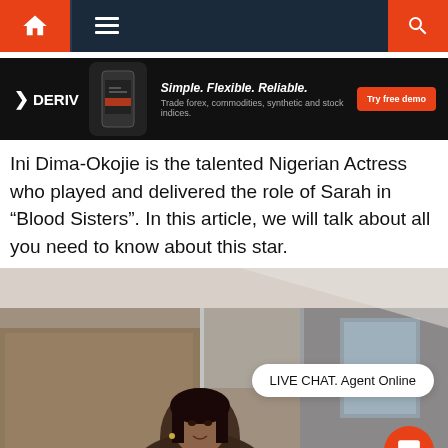[Figure (screenshot): Navigation bar with home icon, hamburger menu, and search icon on dark background with orange accents]
[Figure (screenshot): DERIV advertisement banner: Simple. Flexible. Reliable. Trade forex, commodities, synthetic and stock indices. Try free demo button.]
Ini Dima-Okojie is the talented Nigerian Actress who played and delivered the role of Sarah in "Blood Sisters". In this article, we will talk about all you need to know about this star.
[Figure (photo): Photo of Ini Dima-Okojie, Nigerian actress, in an interior setting. LIVE CHAT. Agent Online overlay bubble visible, with red chat icon button.]